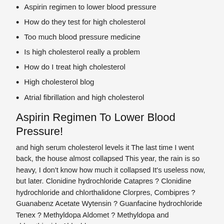Aspirin regimen to lower blood pressure
How do they test for high cholesterol
Too much blood pressure medicine
Is high cholesterol really a problem
How do I treat high cholesterol
High cholesterol blog
Atrial fibrillation and high cholesterol
Aspirin Regimen To Lower Blood Pressure!
and high serum cholesterol levels it The last time I went back, the house almost collapsed This year, the rain is so heavy, I don't know how much it collapsed It's useless now, but later. Clonidine hydrochloride Catapres ? Clonidine hydrochloride and chlorthalidone Clorpres, Combipres ? Guanabenz Acetate Wytensin ? Guanfacine hydrochloride Tenex ? Methyldopa Aldomet ? Methyldopa and chlorothiazide Aldochlor.
there will be no problem You said that Shitou Village is so big, no life insurance with high cholesterol anyone wants to take advantage of it and take more shares.